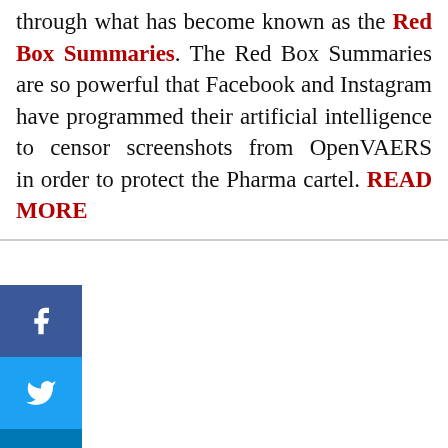through what has become known as the Red Box Summaries. The Red Box Summaries are so powerful that Facebook and Instagram have programmed their artificial intelligence to censor screenshots from OpenVAERS in order to protect the Pharma cartel. READ MORE
[Figure (screenshot): Social media sharing sidebar with Facebook, Twitter, LinkedIn icons and a plus button]
Article
[Figure (photo): Stock market financial data image with cyan/teal arrows pointing upward and numbers like 45.10, 77.25 displayed on a blue background]